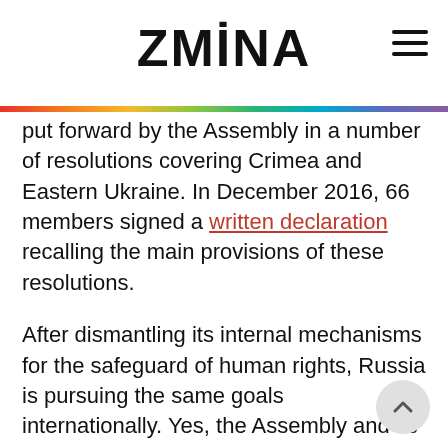ZMINA
put forward by the Assembly in a number of resolutions covering Crimea and Eastern Ukraine. In December 2016, 66 members signed a written declaration recalling the main provisions of these resolutions.
After dismantling its internal mechanisms for the safeguard of human rights, Russia is pursuing the same goals internationally. Yes, the Assembly and its President should continue in their attempts to restart a dialogue with the authorities, but the conditions should also be clear. The Assembly imposed political sanctions on Russia because of its violations of international law and human rights, and these